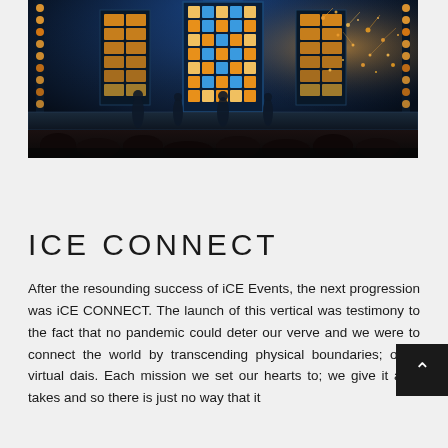[Figure (photo): Concert stage photo with large LED grid tower in center, side lighting towers, blue atmospheric lighting, sparks on the right, performers on stage, audience in foreground.]
ICE CONNECT
After the resounding success of iCE Events, the next progression was iCE CONNECT. The launch of this vertical was testimony to the fact that no pandemic could deter our verve and we were to connect the world by transcending physical boundaries; on a virtual dais. Each mission we set our hearts to; we give it all it takes and so there is just no way that it